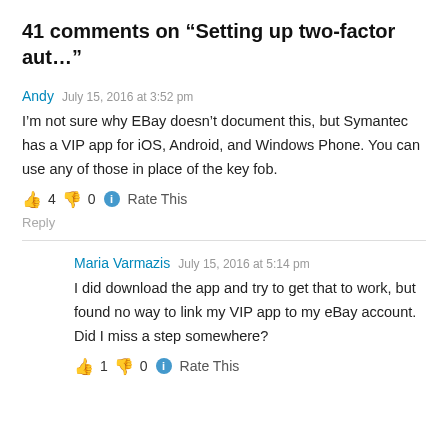41 comments on “Setting up two-factor aut…”
Andy   July 15, 2016 at 3:52 pm
I’m not sure why EBay doesn’t document this, but Symantec has a VIP app for iOS, Android, and Windows Phone. You can use any of those in place of the key fob.
👍 4 👎 0 ⓘ Rate This
Reply
Maria Varmazis   July 15, 2016 at 5:14 pm
I did download the app and try to get that to work, but found no way to link my VIP app to my eBay account. Did I miss a step somewhere?
👍 1 👎 0 ⓘ Rate This